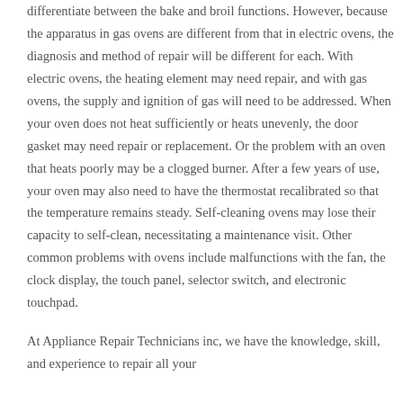differentiate between the bake and broil functions. However, because the apparatus in gas ovens are different from that in electric ovens, the diagnosis and method of repair will be different for each. With electric ovens, the heating element may need repair, and with gas ovens, the supply and ignition of gas will need to be addressed. When your oven does not heat sufficiently or heats unevenly, the door gasket may need repair or replacement. Or the problem with an oven that heats poorly may be a clogged burner. After a few years of use, your oven may also need to have the thermostat recalibrated so that the temperature remains steady. Self-cleaning ovens may lose their capacity to self-clean, necessitating a maintenance visit. Other common problems with ovens include malfunctions with the fan, the clock display, the touch panel, selector switch, and electronic touchpad.
At Appliance Repair Technicians inc, we have the knowledge, skill, and experience to repair all your